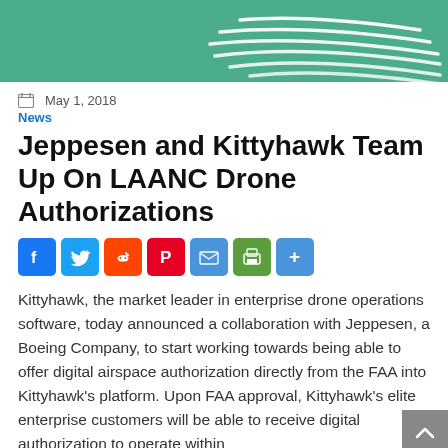[Figure (illustration): Green banner header with white stylized wave/wing lines on the right side, Jeppesen branding]
May 1, 2018
News
Jeppesen and Kittyhawk Team Up On LAANC Drone Authorizations
[Figure (infographic): Social sharing buttons row: Facebook, Twitter, Reddit, Pinterest, Email, Print, Share]
Kittyhawk, the market leader in enterprise drone operations software, today announced a collaboration with Jeppesen, a Boeing Company, to start working towards being able to offer digital airspace authorization directly from the FAA into Kittyhawk's platform. Upon FAA approval, Kittyhawk's elite enterprise customers will be able to receive digital authorization to operate within